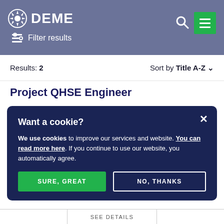DEME Filter results
Results: 2   Sort by Title A-Z
Project QHSE Engineer
Want a cookie?
We use cookies to improve our services and website. You can read more here. If you continue to use our website, you automatically agree.
SURE, GREAT
NO, THANKS
SEE DETAILS